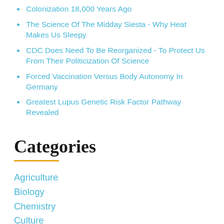Colonization 18,000 Years Ago
The Science Of The Midday Siesta - Why Heat Makes Us Sleepy
CDC Does Need To Be Reorganized - To Protect Us From Their Politicization Of Science
Forced Vaccination Versus Body Autonomy In Germany
Greatest Lupus Genetic Risk Factor Pathway Revealed
Categories
Agriculture
Biology
Chemistry
Culture
Earth Science